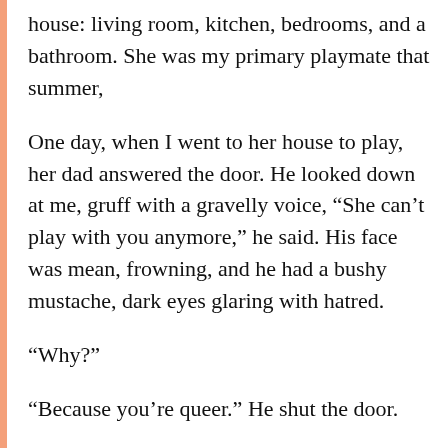house: living room, kitchen, bedrooms, and a bathroom. She was my primary playmate that summer,
One day, when I went to her house to play, her dad answered the door. He looked down at me, gruff with a gravelly voice, “She can’t play with you anymore,” he said. His face was mean, frowning, and he had a bushy mustache, dark eyes glaring with hatred.
“Why?”
“Because you’re queer.” He shut the door.
I didn’t know being queer meant. Puzzled and exasperated, I went to my hiding place to cry. I had